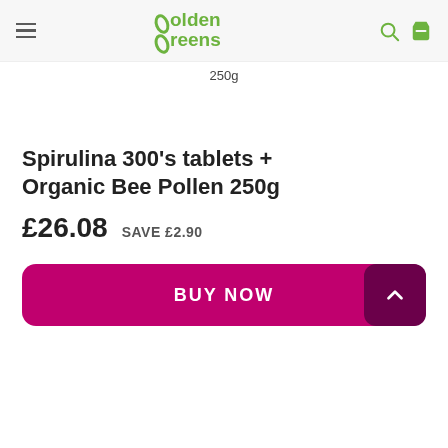Golden Greens
250g
Spirulina 300's tablets + Organic Bee Pollen 250g
£26.08  SAVE £2.90
BUY NOW